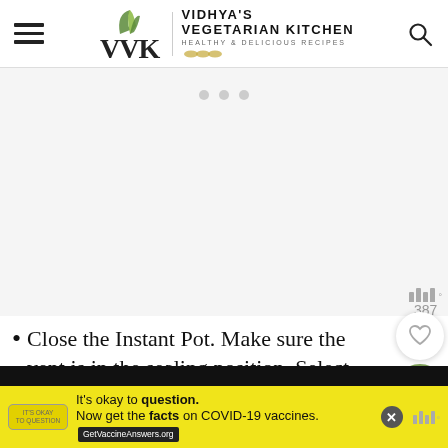VIDHYA'S VEGETARIAN KITCHEN – HEALTHY & DELICIOUS RECIPES
[Figure (other): Advertisement placeholder area with three grey dots centered]
387
Close the Instant Pot. Make sure the vent is in the sealing position. Select manual/pressure cook and set the time to 3-minutes at high-pressure mode. When
[Figure (other): Bottom advertisement banner: It's okay to question. Now get the facts on COVID-19 vaccines. GetVaccineAnswers.org]